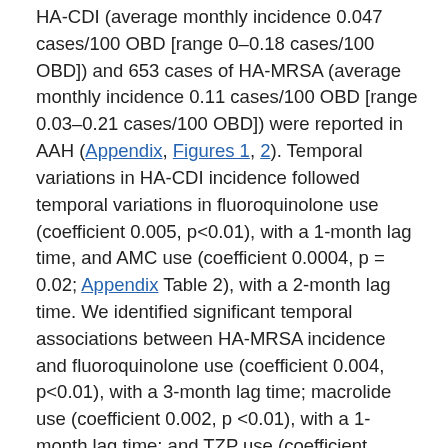HA-CDI (average monthly incidence 0.047 cases/100 OBD [range 0–0.18 cases/100 OBD]) and 653 cases of HA-MRSA (average monthly incidence 0.11 cases/100 OBD [range 0.03–0.21 cases/100 OBD]) were reported in AAH (Appendix, Figures 1, 2). Temporal variations in HA-CDI incidence followed temporal variations in fluoroquinolone use (coefficient 0.005, p<0.01), with a 1-month lag time, and AMC use (coefficient 0.0004, p = 0.02; Appendix Table 2), with a 2-month lag time. We identified significant temporal associations between HA-MRSA incidence and fluoroquinolone use (coefficient 0.004, p<0.01), with a 3-month lag time; macrolide use (coefficient 0.002, p <0.01), with a 1-month lag time; and TZP use (coefficient 0.010, p<0.01), with a 1-month lag time (Appendix Table 3). Based on these findings, an antibiotic cycling policy was implemented in AAH during October 2013–September 2015 (Figure 2).